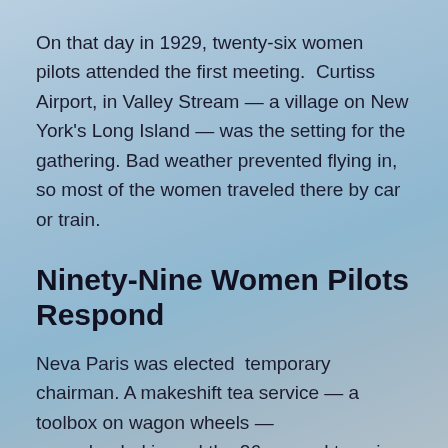On that day in 1929, twenty-six women pilots attended the first meeting.  Curtiss Airport, in Valley Stream — a village on New York's Long Island — was the setting for the gathering. Bad weather prevented flying in, so most of the women traveled there by car or train.
Ninety-Nine Women Pilots Respond
Neva Paris was elected  temporary chairman. A makeshift tea service — a toolbox on wagon wheels —
was wheeled in and the 26 paused to enjoy a hot drink, probably most welcome in the cold, drafty hangar. Discussion — whether to form a women's